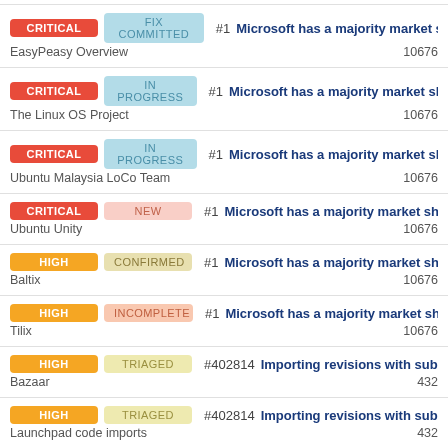CRITICAL | FIX COMMITTED | #1 Microsoft has a majority market share | EasyPeasy Overview | 10676
CRITICAL | IN PROGRESS | #1 Microsoft has a majority market share | The Linux OS Project | 10676
CRITICAL | IN PROGRESS | #1 Microsoft has a majority market share | Ubuntu Malaysia LoCo Team | 10676
CRITICAL | NEW | #1 Microsoft has a majority market share | Ubuntu Unity | 10676
HIGH | CONFIRMED | #1 Microsoft has a majority market share | Baltix | 10676
HIGH | INCOMPLETE | #1 Microsoft has a majority market share | Tilix | 10676
HIGH | TRIAGED | #402814 Importing revisions with submo... | Bazaar | 432
HIGH | TRIAGED | #402814 Importing revisions with submo... | Launchpad code imports | 432